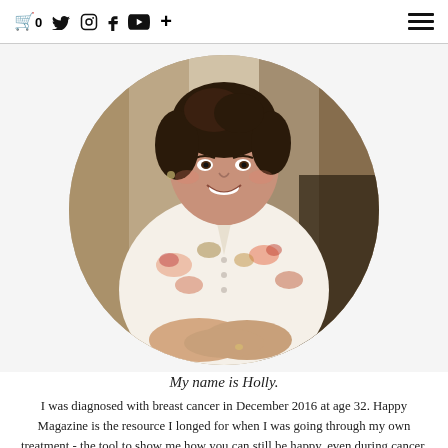🛒0  𝕏  ⊙  f  ▶  +  ☰
[Figure (photo): A smiling woman with dark curly hair wearing a white floral dress, seated with hands clasped, displayed in a circular crop portrait.]
My name is Holly.
I was diagnosed with breast cancer in December 2016 at age 32. Happy Magazine is the resource I longed for when I was going through my own treatment - the tool to show me how you can still be happy, even during cancer. I hope you love it as much as I do and that you keep coming back to see what's